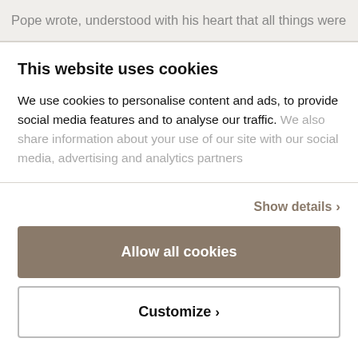Pope wrote, understood with his heart that all things were
This website uses cookies
We use cookies to personalise content and ads, to provide social media features and to analyse our traffic. We also share information about your use of our site with our social media, advertising and analytics partners
Show details ›
Allow all cookies
Customize ›
Powered by Cookiebot by Usercentrics